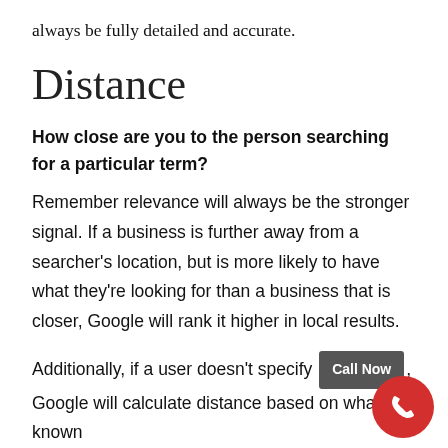always be fully detailed and accurate.
Distance
How close are you to the person searching for a particular term?
Remember relevance will always be the stronger signal. If a business is further away from a searcher’s location, but is more likely to have what they’re looking for than a business that is closer, Google will rank it higher in local results.
Additionally, if a user doesn’t specify [Call Now] [location], Google will calculate distance based on what’s known